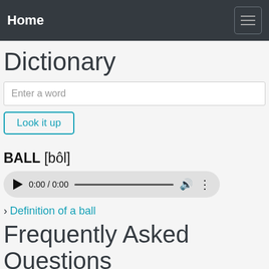Home
Dictionary
Enter a word
Look it up
BALL [bôl]
[Figure (other): Audio player widget showing 0:00 / 0:00 with play button, progress bar, volume and more options icons]
› Definition of a ball
Frequently Asked Questions
What does it mean to be a ball?
The definition of a ball is a round object in the shape of a